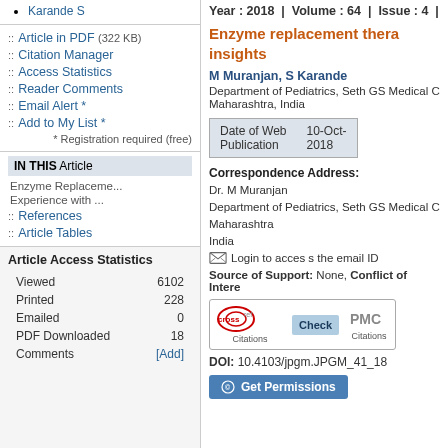Karande S
Article in PDF (322 KB)
Citation Manager
Access Statistics
Reader Comments
Email Alert *
Add to My List *
* Registration required (free)
IN THIS Article
Enzyme Replaceme...
Experience with ...
References
Article Tables
Article Access Statistics
| Stat | Value |
| --- | --- |
| Viewed | 6102 |
| Printed | 228 |
| Emailed | 0 |
| PDF Downloaded | 18 |
| Comments | [Add] |
Year : 2018  |  Volume : 64  |  Issue : 4
Enzyme replacement thera... insights
M Muranjan, S Karande
Department of Pediatrics, Seth GS Medical C... Maharashtra, India
| Field | Value |
| --- | --- |
| Date of Web Publication | 10-Oct-2018 |
Correspondence Address:
Dr. M Muranjan
Department of Pediatrics, Seth GS Medical C...
Maharashtra
India
Login to access the email ID
Source of Support: None, Conflict of Intere...
[Figure (logo): CrossRef Citations check badge and PMC Citations badge]
DOI: 10.4103/jpgm.JPGM_41_18
Get Permissions